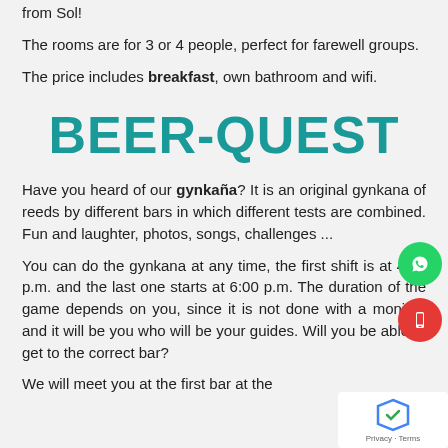from Sol!
The rooms are for 3 or 4 people, perfect for farewell groups.
The price includes breakfast, own bathroom and wifi.
BEER-QUEST
Have you heard of our gynkaña? It is an original gynkana of reeds by different bars in which different tests are combined. Fun and laughter, photos, songs, challenges ...
You can do the gynkana at any time, the first shift is at 4:00 p.m. and the last one starts at 6:00 p.m. The duration of the game depends on you, since it is not done with a monitor, and it will be you who will be your guides. Will you be able to get to the correct bar?
We will meet you at the first bar at the